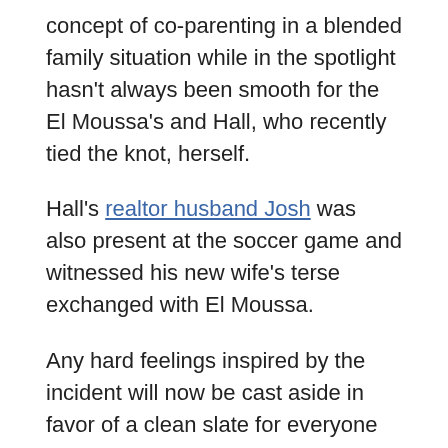concept of co-parenting in a blended family situation while in the spotlight hasn't always been smooth for the El Moussa's and Hall, who recently tied the knot, herself.
Hall's realtor husband Josh was also present at the soccer game and witnessed his new wife's terse exchanged with El Moussa.
Any hard feelings inspired by the incident will now be cast aside in favor of a clean slate for everyone involved.
El Moussa and Hall began the process by issuing a statement together, via People Magazine.